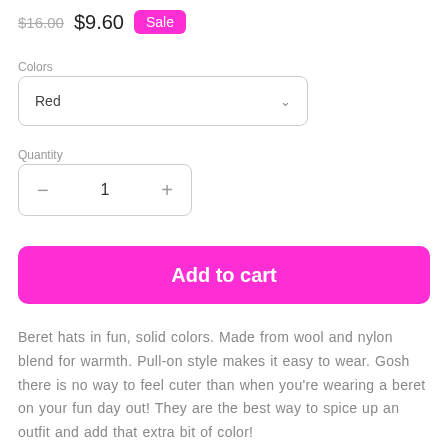$16.00 $9.60 Sale
Colors
Red
Quantity
- 1 +
Add to cart
Beret hats in fun, solid colors. Made from wool and nylon blend for warmth. Pull-on style makes it easy to wear. Gosh there is no way to feel cuter than when you're wearing a beret on your fun day out! They are the best way to spice up an outfit and add that extra bit of color!